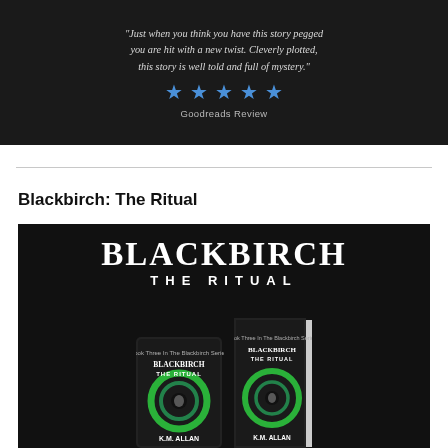[Figure (other): Dark banner with italic review quote text, five blue stars, and 'Goodreads Review' label on black background]
Blackbirch: The Ritual
[Figure (other): Dark promotional image for 'Blackbirch: The Ritual' by K.M. Allan showing large white title text and two book covers (tablet and paperback) with green glowing eye design on black background]